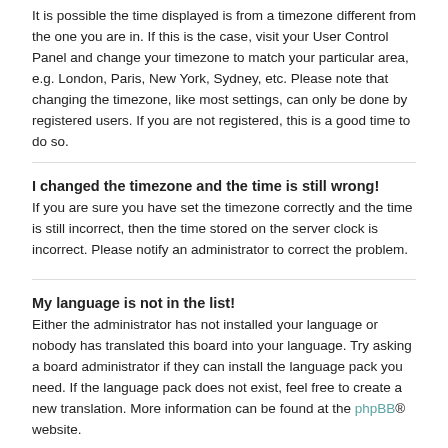It is possible the time displayed is from a timezone different from the one you are in. If this is the case, visit your User Control Panel and change your timezone to match your particular area, e.g. London, Paris, New York, Sydney, etc. Please note that changing the timezone, like most settings, can only be done by registered users. If you are not registered, this is a good time to do so.
I changed the timezone and the time is still wrong!
If you are sure you have set the timezone correctly and the time is still incorrect, then the time stored on the server clock is incorrect. Please notify an administrator to correct the problem.
My language is not in the list!
Either the administrator has not installed your language or nobody has translated this board into your language. Try asking a board administrator if they can install the language pack you need. If the language pack does not exist, feel free to create a new translation. More information can be found at the phpBB® website.